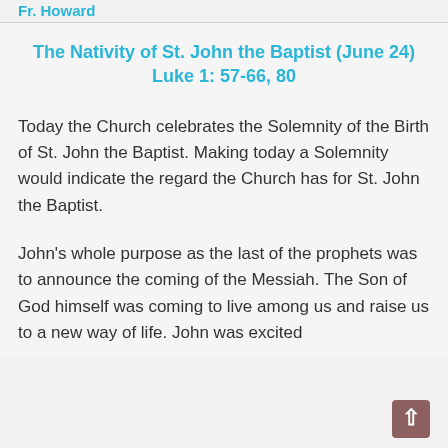Fr. Howard
The Nativity of St. John the Baptist (June 24)
Luke 1: 57-66, 80
Today the Church celebrates the Solemnity of the Birth of St. John the Baptist. Making today a Solemnity would indicate the regard the Church has for St. John the Baptist.
John's whole purpose as the last of the prophets was to announce the coming of the Messiah. The Son of God himself was coming to live among us and raise us to a new way of life. John was excited